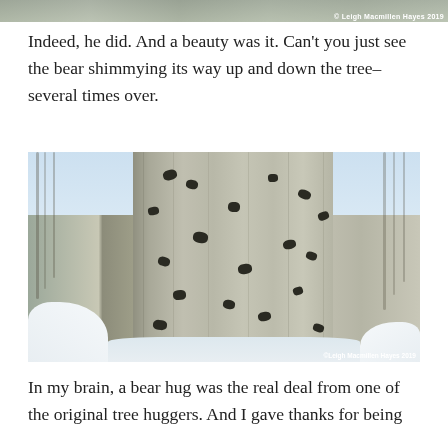[Figure (photo): Top strip of a photo showing trees in snow, with copyright watermark '© Leigh Macmillen Hayes 2019' in white text at the right]
Indeed, he did. And a beauty was it. Can't you just see the bear shimmying its way up and down the tree–several times over.
[Figure (photo): Close-up photograph of a large tree trunk covered in bear claw marks (dark scuff marks and gouges), with a snowy winter forest visible in the background. Copyright watermark '©Leigh Macmillen Hayes 2019' in lower right corner.]
In my brain, a bear hug was the real deal from one of the original tree huggers. And I gave thanks for being